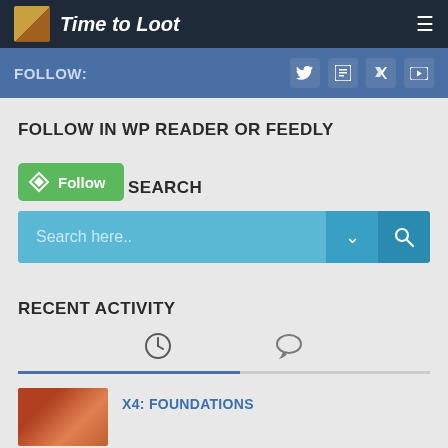Time to Loot
FOLLOW:
FOLLOW IN WP READER OR FEEDLY
[Figure (screenshot): Green Follow button with WordPress icon]
SEARCH
[Figure (screenshot): Blue search bar with placeholder text 'Search here..' and dropdown/search icons]
RECENT ACTIVITY
[Figure (screenshot): Activity tabs with clock icon and chat icon, with blue/grey underline indicator]
X4: FOUNDATIONS